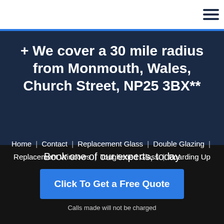+ We cover a 30 mile radius from Monmouth, Wales, Church Street, NP25 3BX**
Home | Contact | Replacement Glass | Double Glazing | Replacement Windows | Toughened Glass | Boarding Up
Powered by Viabl Ltd, Company Registration
Book one of our experts, today
Click To Get a Free Quote
Calls made will not be charged